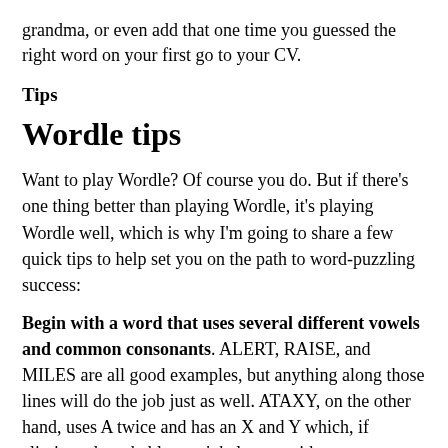grandma, or even add that one time you guessed the right word on your first go to your CV.
Tips
Wordle tips
Want to play Wordle? Of course you do. But if there's one thing better than playing Wordle, it's playing Wordle well, which is why I'm going to share a few quick tips to help set you on the path to word-puzzling success:
Begin with a word that uses several different vowels and common consonants. ALERT, RAISE, and MILES are all good examples, but anything along those lines will do the job just as well. ATAXY, on the other hand, uses A twice and has an X and Y which, if eliminated, probably won't help you with your next guess all that much.
Keep in mind a letter may appear more than once in the solution. If you enter TAINT and the A turns yellow or